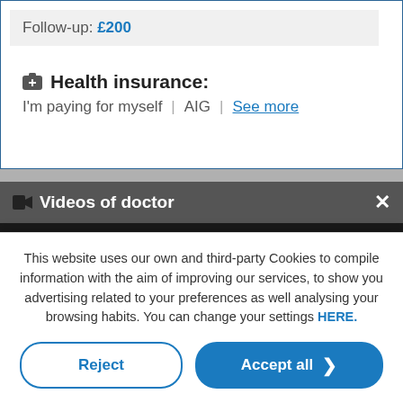Follow-up: £200
Health insurance:
I'm paying for myself | AIG | See more
Videos of doctor
This website uses our own and third-party Cookies to compile information with the aim of improving our services, to show you advertising related to your preferences as well analysing your browsing habits. You can change your settings HERE.
Reject
Accept all
Custom configuration | Cookies Policy | Privacy Policy